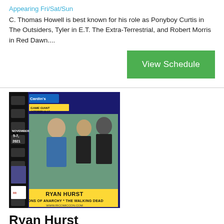Appearing Fri/Sat/Sun
C. Thomas Howell is best known for his role as Ponyboy Curtis in The Outsiders, Tyler in E.T. The Extra-Terrestrial, and Robert Morris in Red Dawn....
[Figure (other): Green 'View Schedule' button]
[Figure (photo): Ryan Hurst promotional poster for Rhode Island Comic Con, November 5-7, 2021. Shows Ryan Hurst in two roles - as himself and as a zombie character from The Walking Dead. Yellow banner reads RYAN HURST SONS OF ANARCHY * THE WALKING DEAD WWW.RICOMICCON.COM]
Ryan Hurst
Appearing Fri/Sat/Sun
Ryan is known for his roles as Sgt. Ernie Savage in We Were Soldiers, Tom Clarke in Taken, Opie Winston in the FX drama series Sons of Anarchy, Chi...